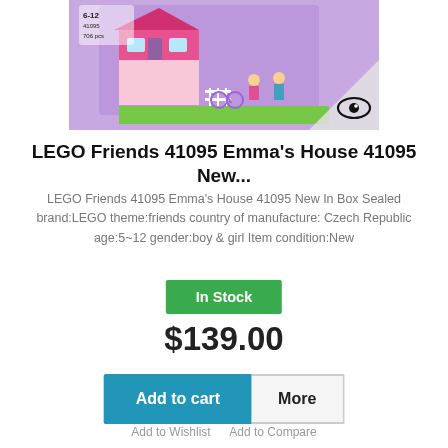[Figure (photo): LEGO Friends 41095 Emma's House product box image showing colorful building set with miniature characters and house facade on purple/lavender background, with eye/quick-view icon overlay]
LEGO Friends 41095 Emma's House 41095 New...
LEGO Friends 41095 Emma's House 41095 New In Box Sealed brand:LEGO theme:friends country of manufacture: Czech Republic age:5~12 gender:boy & girl Item condition:New
In Stock
$139.00
Add to cart
More
Add to Wishlist   Add to Compare